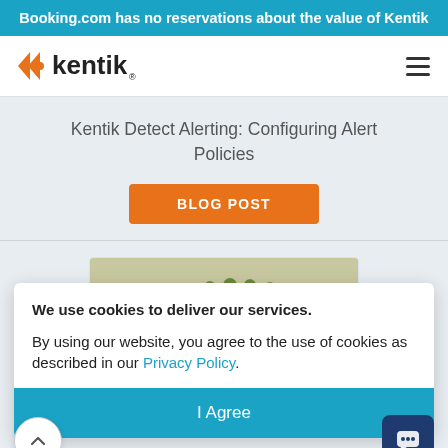Booking.com has no reservations about the value of Kentik
[Figure (logo): Kentik logo with orange chevron icon and Kentik wordmark]
Kentik Detect Alerting: Configuring Alert Policies
BLOG POST
[Figure (photo): Photo of green chess pieces on a board]
We use cookies to deliver our services.
By using our website, you agree to the use of cookies as described in our Privacy Policy.
I Agree